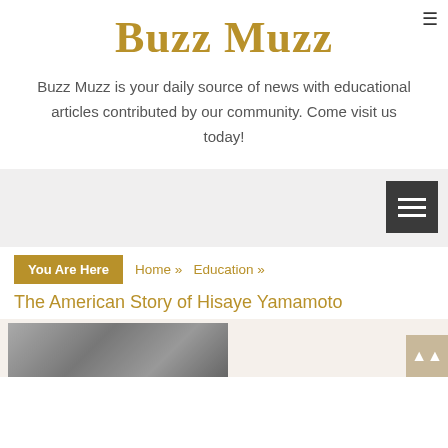Buzz Muzz
Buzz Muzz is your daily source of news with educational articles contributed by our community. Come visit us today!
You Are Here  Home » Education »
The American Story of Hisaye Yamamoto
[Figure (photo): Black and white photograph of Hisaye Yamamoto, partially visible at bottom of page]